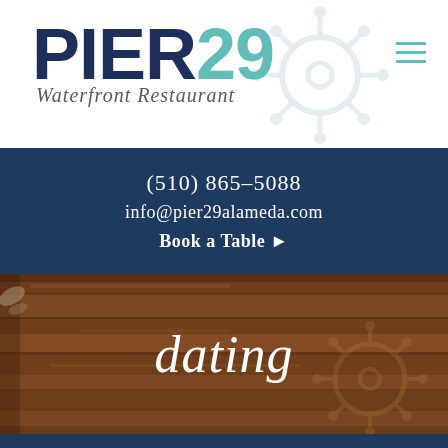[Figure (logo): Pier 29 Waterfront Restaurant logo with ship wheel watermark. 'PIER' in dark navy bold, '29' in teal bold, 'Waterfront Restaurant' in italic script below.]
(510) 865-5088
info@pier29alameda.com
Book a Table ►
[Figure (photo): Wooden plank texture background (dark brown wood) with a ship wheel watermark overlay and the word 'dating' in white italic serif font centered over it.]